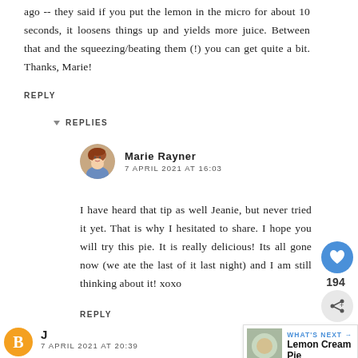ago -- they said if you put the lemon in the micro for about 10 seconds, it loosens things up and yields more juice. Between that and the squeezing/beating them (!) you can get quite a bit. Thanks, Marie!
REPLY
REPLIES
Marie Rayner
7 APRIL 2021 AT 16:03
I have heard that tip as well Jeanie, but never tried it yet. That is why I hesitated to share. I hope you will try this pie. It is really delicious! Its all gone now (we ate the last of it last night) and I am still thinking about it! xoxo
REPLY
WHAT'S NEXT → Lemon Cream Pie
J
7 APRIL 2021 AT 20:39